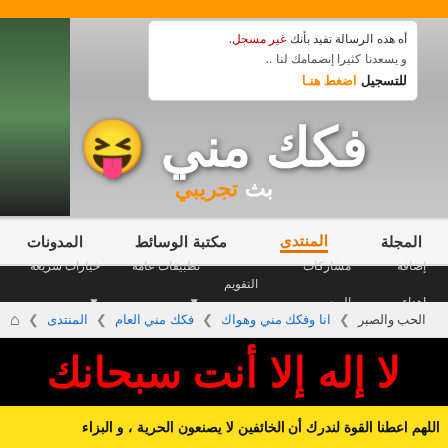أه هذه الرسالة تفيد بأنك غير مسجل. و يسعدنا كثيرا إنضمامك لنا .. للتسجيل اضغط هنا
[Figure (screenshot): Arabic forum website screenshot showing site logo with Arabic text, navigation bar, sub-navigation, breadcrumb, large red Arabic text on black background, and yellow text banner at bottom]
فكك مني بث تجريبي
المجلة  المنتدى  مكتبة الوسائط  المدونات
إضافة إهداء  مشاركات اليوم  التقويم  تطبيقات عامة  خيارات سريعة
المنتدى ❯ فكك مني العام ❯ انا وفكك مني وهواك ❯ الحب والصبر
لا إله إلا أنت سبحانك
اللهم اعطنا القوة لندرك أن الخائفين لا يصنعون الحرية ، و البزاء